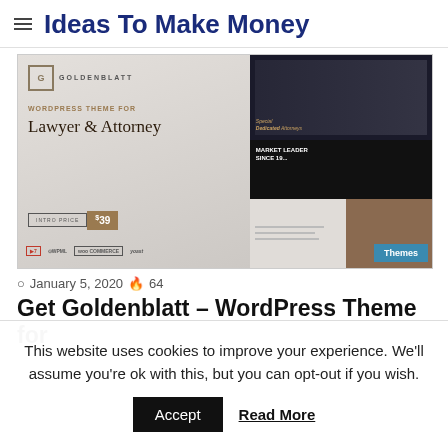Ideas To Make Money
[Figure (screenshot): Screenshot of Goldenblatt WordPress Theme for Lawyer & Attorney, showing intro price of $39 with WPML, WooCommerce, Yoast logos, and a Themes badge]
January 5, 2020  64
Get Goldenblatt – WordPress Theme for
This website uses cookies to improve your experience. We'll assume you're ok with this, but you can opt-out if you wish.
Accept   Read More